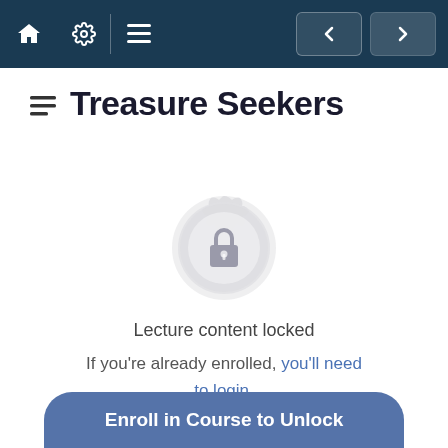Navigation bar with home, settings, menu, back and forward buttons
Treasure Seekers
[Figure (illustration): A circular badge/seal icon in light grey with a padlock in the center, indicating locked content]
Lecture content locked
If you're already enrolled, you'll need to login.
Enroll in Course to Unlock